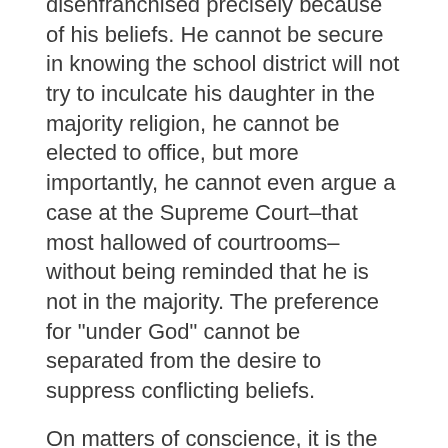disenfranchised precisely because of his beliefs. He cannot be secure in knowing the school district will not try to inculcate his daughter in the majority religion, he cannot be elected to office, but more importantly, he cannot even argue a case at the Supreme Court–that most hallowed of courtrooms–without being reminded that he is not in the majority. The preference for "under God" cannot be separated from the desire to suppress conflicting beliefs.
On matters of conscience, it is the Supreme Court's most solemn duty to protect vilified minorities from the majority's demands. From the perspective of the freedom conscience, it is obvious that Newdow should win.
The Solicitor General's attempt to defend "under God" is not persuasive.
The Department of Justice's Misguided Defense of the